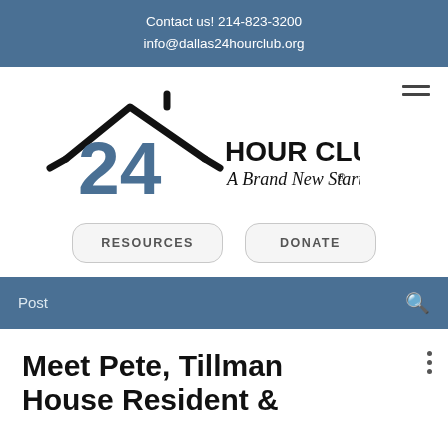Contact us! 214-823-3200
info@dallas24hourclub.org
[Figure (logo): 24 Hour Club - A Brand New Start logo with house roofline graphic and blue '24' numeral]
RESOURCES
DONATE
Post
Meet Pete, Tillman House Resident &